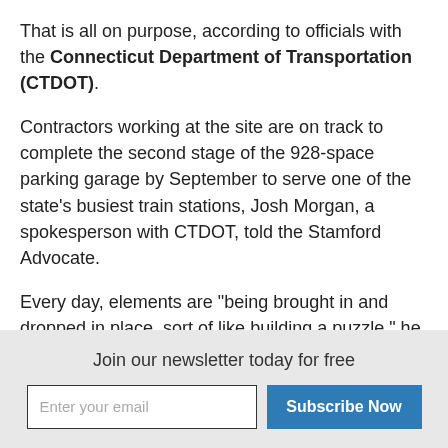That is all on purpose, according to officials with the Connecticut Department of Transportation (CTDOT).
Contractors working at the site are on track to complete the second stage of the 928-space parking garage by September to serve one of the state's busiest train stations, Josh Morgan, a spokesperson with CTDOT, told the Stamford Advocate.
Every day, elements are "being brought in and dropped in place, sort of like building a puzzle," he said.
Join our newsletter today for free